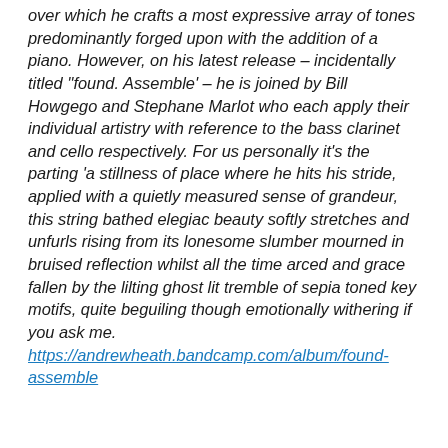over which he crafts a most expressive array of tones predominantly forged upon with the addition of a piano. However, on his latest release – incidentally titled ''found. Assemble' – he is joined by Bill Howgego and Stephane Marlot who each apply their individual artistry with reference to the bass clarinet and cello respectively. For us personally it's the parting 'a stillness of place where he hits his stride, applied with a quietly measured sense of grandeur, this string bathed elegiac beauty softly stretches and unfurls rising from its lonesome slumber mourned in bruised reflection whilst all the time arced and grace fallen by the lilting ghost lit tremble of sepia toned key motifs, quite beguiling though emotionally withering if you ask me. https://andrewheath.bandcamp.com/album/found-assemble